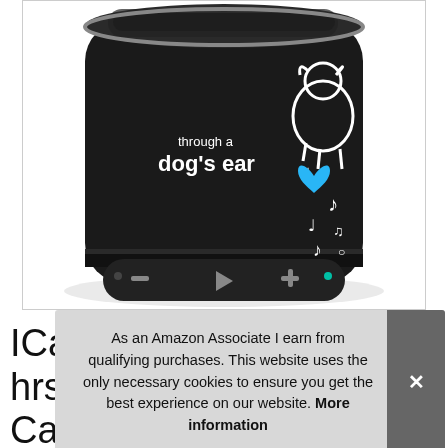[Figure (photo): A black cylindrical Bluetooth speaker with 'through a dog's ear' branding, showing a white dog illustration with blue heart and musical notes. The speaker has control buttons on the front (minus, play, plus) and a teal LED light.]
ICa
hrs
Ca
Your Proven Canine Anxiety Solution
As an Amazon Associate I earn from qualifying purchases. This website uses the only necessary cookies to ensure you get the best experience on our website. More information